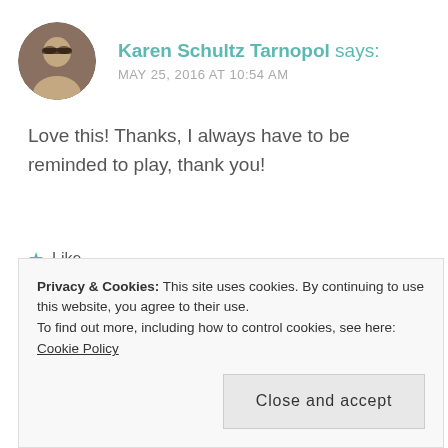[Figure (photo): Circular avatar photo of a woman with dark hair and glasses]
Karen Schultz Tarnopol says:
MAY 25, 2016 AT 10:54 AM
Love this! Thanks, I always have to be reminded to play, thank you!
★ Like
REPLY ↩
Privacy & Cookies: This site uses cookies. By continuing to use this website, you agree to their use.
To find out more, including how to control cookies, see here: Cookie Policy
Close and accept